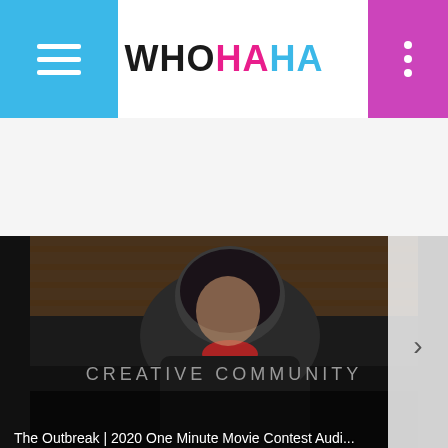[Figure (screenshot): WhoHaHa website header with blue hamburger menu on left, WhoHaHa logo in center (WHO in black, HA in pink, HA in blue), and purple three-dot menu on right]
[Figure (photo): Video thumbnail showing a person seated in a dark interior, with caption 'The Outbreak | 2020 One Minute Movie Contest Audi...' and a right arrow chevron]
CREATIVE COMMUNITY
[Figure (photo): Three circular profile photo avatars at the bottom of the page - a redhead woman, a blonde woman, and a dark-haired person]